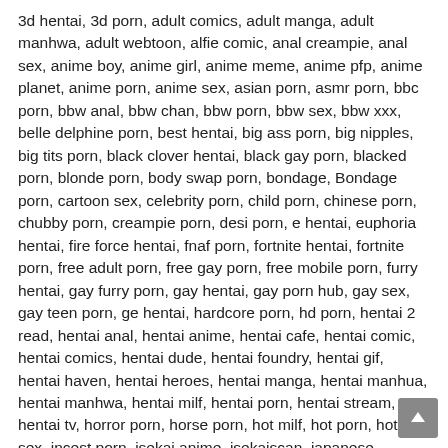3d hentai, 3d porn, adult comics, adult manga, adult manhwa, adult webtoon, alfie comic, anal creampie, anal sex, anime boy, anime girl, anime meme, anime pfp, anime planet, anime porn, anime sex, asian porn, asmr porn, bbc porn, bbw anal, bbw chan, bbw porn, bbw sex, bbw xxx, belle delphine porn, best hentai, big ass porn, big nipples, big tits porn, black clover hentai, black gay porn, blacked porn, blonde porn, body swap porn, bondage, Bondage porn, cartoon sex, celebrity porn, child porn, chinese porn, chubby porn, creampie porn, desi porn, e hentai, euphoria hentai, fire force hentai, fnaf porn, fortnite hentai, fortnite porn, free adult porn, free gay porn, free mobile porn, furry hentai, gay furry porn, gay hentai, gay porn hub, gay sex, gay teen porn, ge hentai, hardcore porn, hd porn, hentai 2 read, hentai anal, hentai anime, hentai cafe, hentai comic, hentai comics, hentai dude, hentai foundry, hentai gif, hentai haven, hentai heroes, hentai manga, hentai manhua, hentai manhwa, hentai milf, hentai porn, hentai stream, hentai tv, horror porn, horse porn, hot milf, hot porn, hot sex, incest porn, isekai anime, isekaiscan, japanese mature, jav now, jav porn, konosuba hentai,